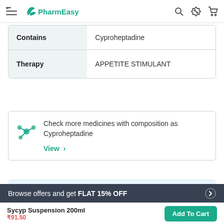PharmEasy
| Contains | Cyproheptadine |
| Therapy | APPETITE STIMULANT |
Check more medicines with composition as Cyproheptadine
View >
All the Products are packed and stored Safely
Offers Just for you
View All
Browse offers and get FLAT 15% OFF
Sycyp Suspension 200ml
Add To Cart